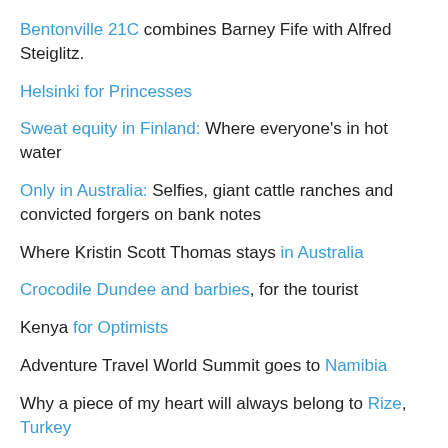Bentonville 21C combines Barney Fife with Alfred Steiglitz.
Helsinki for Princesses
Sweat equity in Finland: Where everyone's in hot water
Only in Australia: Selfies, giant cattle ranches and convicted forgers on bank notes
Where Kristin Scott Thomas stays in Australia
Crocodile Dundee and barbies, for the tourist
Kenya for Optimists
Adventure Travel World Summit goes to Namibia
Why a piece of my heart will always belong to Rize, Turkey
The Planet's Most Challenging Destinations
ME London's rooftop Radio bring flower to the people
But it's only $40,000 per night!!